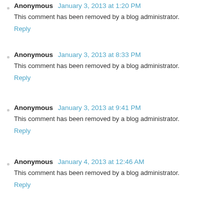Anonymous January 3, 2013 at 1:20 PM
This comment has been removed by a blog administrator.
Reply
Anonymous January 3, 2013 at 8:33 PM
This comment has been removed by a blog administrator.
Reply
Anonymous January 3, 2013 at 9:41 PM
This comment has been removed by a blog administrator.
Reply
Anonymous January 4, 2013 at 12:46 AM
This comment has been removed by a blog administrator.
Reply